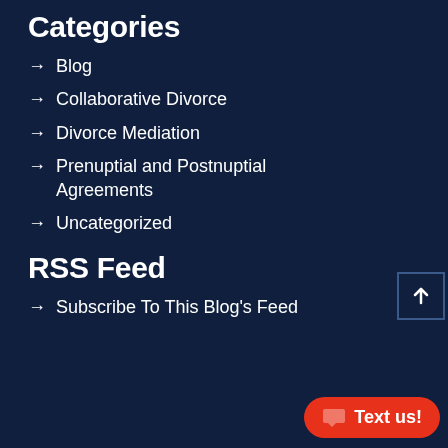Categories
→ Blog
→ Collaborative Divorce
→ Divorce Mediation
→ Prenuptial and Postnuptial Agreements
→ Uncategorized
RSS Feed
→ Subscribe To This Blog's Feed
[Figure (other): Scroll to top button with upward arrow, dark navy background with blue border]
[Figure (other): Red rounded pill button with chat icon and 'Text us!' label]